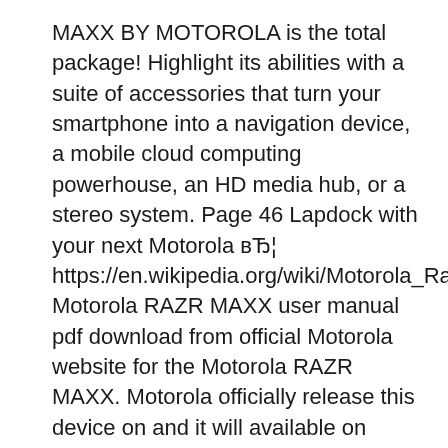MAXX BY MOTOROLA is the total package! Highlight its abilities with a suite of accessories that turn your smartphone into a navigation device, a mobile cloud computing powerhouse, an HD media hub, or a stereo system. Page 46 Lapdock with your next Motorola вЂ¦ https://en.wikipedia.org/wiki/Motorola_Razr_(2020) Motorola RAZR MAXX user manual pdf download from official Motorola website for the Motorola RAZR MAXX. Motorola officially release this device on and it will available on market, device comes with 1 GB RAM and 16 GB Storage running on Android os v2.3 (gingerbread)..